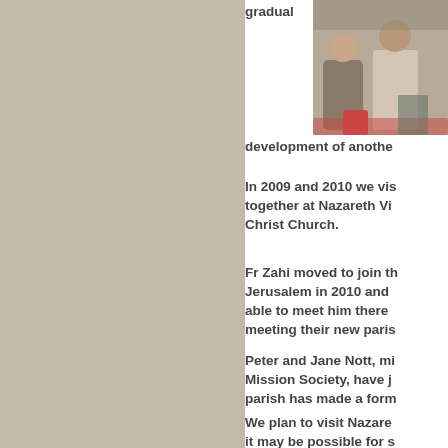[Figure (photo): Photo of people seated, partially visible on right side of page]
gradual
development of anothe
In 2009 and 2010 we vis together at Nazareth Vi Christ Church.
Fr Zahi moved to join th Jerusalem in 2010 and able to meet him there meeting their new paris
Peter and Jane Nott, mi Mission Society, have j parish has made a form
We plan to visit Nazare it may be possible for s visit us here in Watford